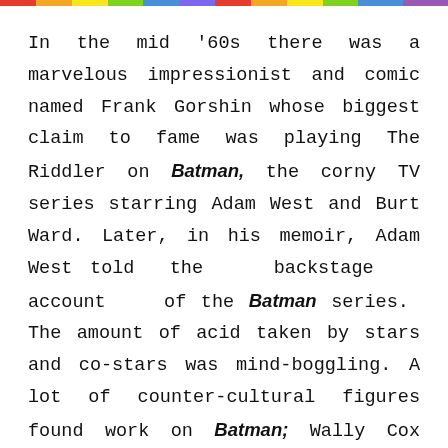[Figure (other): Colorful rainbow-striped horizontal bar at top of page]
In the mid '60s there was a marvelous impressionist and comic named Frank Gorshin whose biggest claim to fame was playing The Riddler on Batman, the corny TV series starring Adam West and Burt Ward. Later, in his memoir, Adam West told the backstage account of the Batman series. The amount of acid taken by stars and co-stars was mind-boggling. A lot of counter-cultural figures found work on Batman; Wally Cox (the Bookworm), a Brando confidant, Tallulah